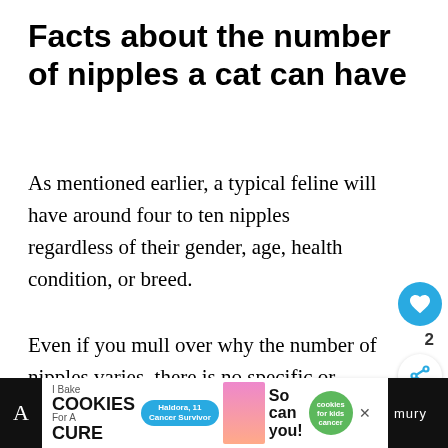Facts about the number of nipples a cat can have
As mentioned earlier, a typical feline will have around four to ten nipples regardless of their gender, age, health condition, or breed.
Even if you mull over why the number of nipples varies, there is no specific or reasonable answer for this variation.
[Figure (screenshot): UI overlay elements: heart/like button (blue circle with heart icon), count '2', share button, and 'What's Next' card showing 'The Lifespan of a Maine...' with a small thumbnail image.]
[Figure (screenshot): Advertisement banner at the bottom: 'I Bake COOKIES For A CURE' with Haldora, 11 Cancer Survivor badge, photo of girl, 'So can you!' text, cookies for kids cancer green logo, and close button. Partial text 'A' on left and partial 'mury' on right visible in dark bar.]